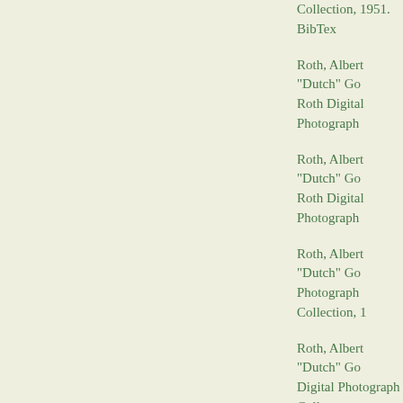Collection, 1951. BibTex
Roth, Albert "Dutch" Go
Roth Digital Photograph
Roth, Albert "Dutch" Go
Roth Digital Photograph
Roth, Albert "Dutch" Go
Photograph Collection, 1
Roth, Albert "Dutch" Go
Digital Photograph Colle
Roth, Albert "Dutch" Go
Gordon "Dutch" Roth Di
Roth, Albert "Dutch" Go
Roth Digital Photograph
Roth, Albert "Dutch" Go
"Dutch" Roth Digital Ph
Roth, Albert "Dutch" Go